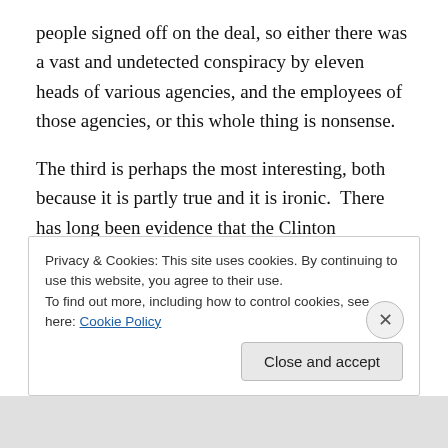people signed off on the deal, so either there was a vast and undetected conspiracy by eleven heads of various agencies, and the employees of those agencies, or this whole thing is nonsense.
The third is perhaps the most interesting, both because it is partly true and it is ironic.  There has long been evidence that the Clinton campaign had used the levers of power within the Democratic party to favor her candidacy over that of Bernie Sanders.  That does seem to fit the popular notion of “collusion.”  It was a secret, albeit open
Privacy & Cookies: This site uses cookies. By continuing to use this website, you agree to their use.
To find out more, including how to control cookies, see here: Cookie Policy